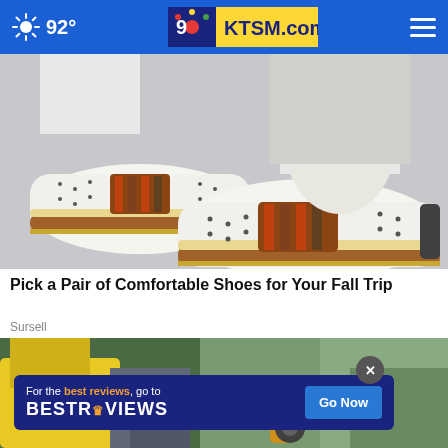92° KTSM.com
[Figure (photo): Close-up photo of two white casual slip-on shoes with brown/tan trim, perforated upper, and striped elastic panel, worn by a person in white pants on a gray surface.]
Pick a Pair of Comfortable Shoes for Your Fall Trip
Sursell
[Figure (photo): Partial photo of a worker in a yellow safety vest using a power tool, with a BestReviews advertisement overlay at the bottom.]
For the best reviews, go to BESTREVIEWS